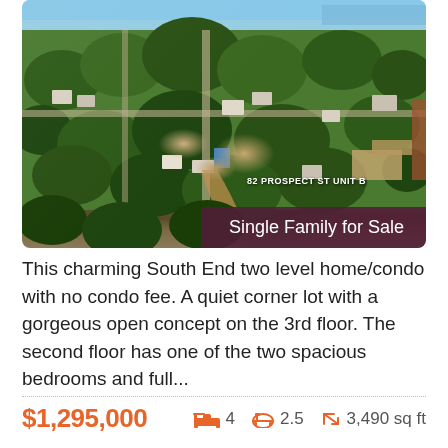[Figure (photo): Aerial drone photograph of a residential neighborhood with tree canopy, rooftops, streets, and a body of water in the background. A label reads '82 PROSPECT ST UNIT B' overlaid on the image. A badge reads 'Single Family for Sale'.]
This charming South End two level home/condo with no condo fee. A quiet corner lot with a gorgeous open concept on the 3rd floor. The second floor has one of the two spacious bedrooms and full...
$1,295,000
4  2.5  3,490 sq ft